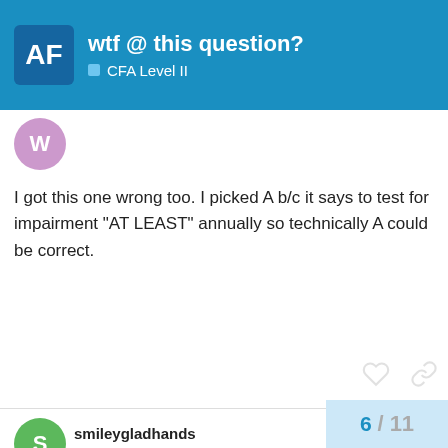wtf @ this question? — CFA Level II
I got this one wrong too. I picked A b/c it says to test for impairment "AT LEAST" annually so technically A could be correct.
smileygladhands   May '10
rus1bus Wrote: --------------------------------------------------------- > I am not an accountant, but i dont ever recall > reading goodwill impairment reducing equity thru > Income Statement. I would just answer C as the > only choice. > > For Goodwill, it makes sense to reduce equity > immediately rather than indirectly, without > recording a loss in I/S first. > > U cannot > amortize Goodwill, so under > normal co…